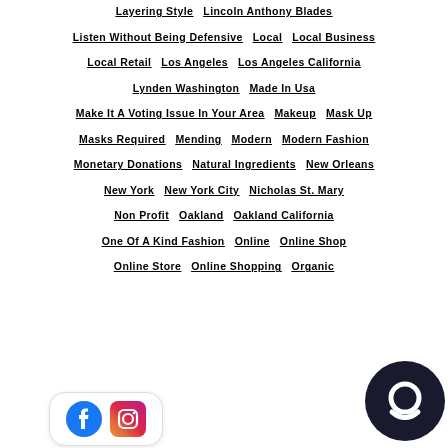Layering Style
Lincoln Anthony Blades
Listen Without Being Defensive
Local
Local Business
Local Retail
Los Angeles
Los Angeles California
Lynden Washington
Made In Usa
Make It A Voting Issue In Your Area
Makeup
Mask Up
Masks Required
Mending
Modern
Modern Fashion
Monetary Donations
Natural Ingredients
New Orleans
New York
New York City
Nicholas St. Mary
Non Profit
Oakland
Oakland California
One Of A Kind Fashion
Online
Online Shop
Online Store
Online Shopping
Organic
[Figure (logo): Facebook and Instagram social media icons in a rounded white card]
[Figure (logo): Dark circular chat bubble widget icon in bottom right corner]